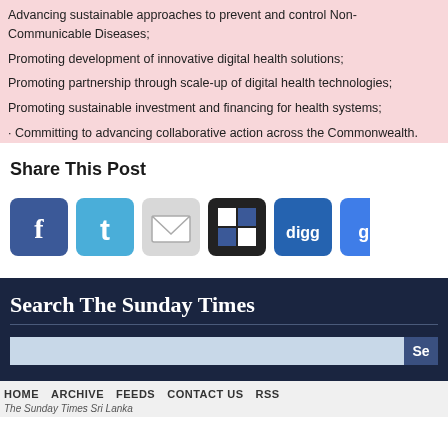Advancing sustainable approaches to prevent and control Non-Communicable Diseases;
Promoting development of innovative digital health solutions;
Promoting partnership through scale-up of digital health technologies;
Promoting sustainable investment and financing for health systems;
· Committing to advancing collaborative action across the Commonwealth.
Share This Post
[Figure (infographic): Social media share icons: Facebook (blue), Twitter (light blue), Email (grey), Delicious (black checkered), Digg (blue), Google+ (blue)]
Search The Sunday Times
Search input box and Se button
HOME   ARCHIVE   FEEDS   CONTACT US   RSS
The Sunday Times Sri Lanka